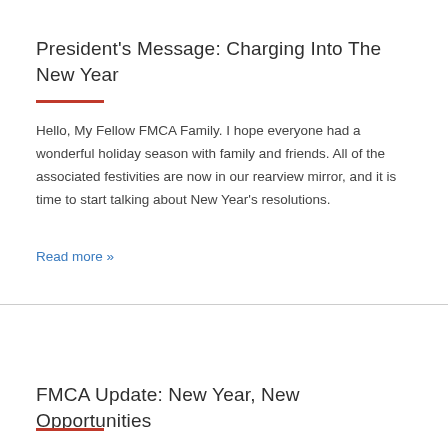President's Message: Charging Into The New Year
Hello, My Fellow FMCA Family. I hope everyone had a wonderful holiday season with family and friends. All of the associated festivities are now in our rearview mirror, and it is time to start talking about New Year's resolutions.
Read more »
FMCA Update: New Year, New Opportunities